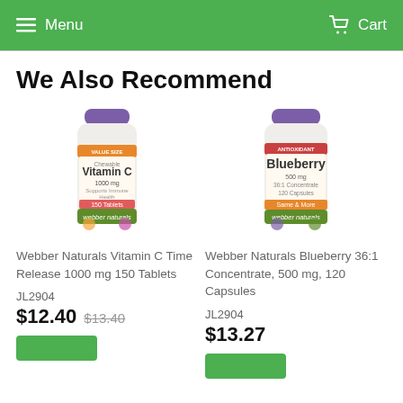Menu | Cart
We Also Recommend
[Figure (photo): Webber Naturals Vitamin C Time Release 1000 mg 150 Tablets supplement bottle with purple cap and orange label]
Webber Naturals Vitamin C Time Release 1000 mg 150 Tablets
JL2904
$12.40 $13.40
[Figure (photo): Webber Naturals Blueberry 36:1 Concentrate 500 mg 120 Capsules supplement bottle with purple cap]
Webber Naturals Blueberry 36:1 Concentrate, 500 mg, 120 Capsules
JL2904
$13.27